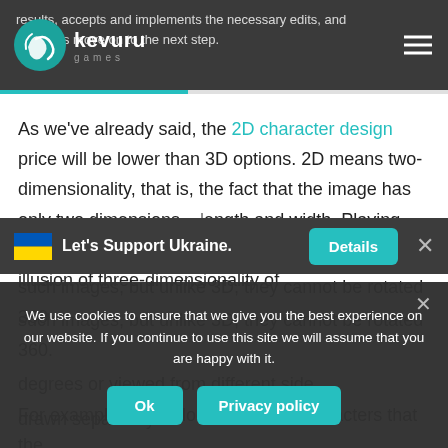results, accepts and implements the necessary edits, and approves move on to the next step.
As we've already said, the 2D character design price will be lower than 3D options. 2D means two-dimensionality, that is, the fact that the image has only two dimensions – length and width. Playing with colors, gradients, and shadows can create the illusion of three-dimensionality of such images, but unlike 3D, they cannot be rotated 360 degrees or viewed from different sides. Each pose is drawn separately.
For example, take a look at the 2D characters that the
Let's Support Ukraine.
Details
We use cookies to ensure that we give you the best experience on our website. If you continue to use this site we will assume that you are happy with it.
Ok
Privacy policy